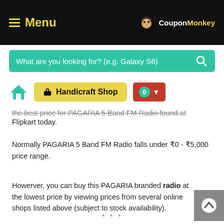Menu | CouponMonkey
[Figure (screenshot): Search bar with teal background, placeholder text: What are you looking for? (e.g. Galaxy S6)]
[Figure (screenshot): Toolbar with home icon, yellow Handicraft Shop button, and red cart button showing 0]
the best price for PAGARIA 5 Band FM Radio found at Flipkart today.
Normally PAGARIA 5 Band FM Radio falls under ₹0 - ₹5,000 price range.
Howerver, you can buy this PAGARIA branded radio at the lowest price by viewing prices from several online shops listed above (subject to stock availability).